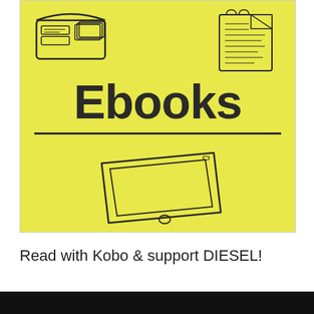[Figure (illustration): Yellow background illustration showing a wallet (top left), a notepad with handwriting (top right), large bold text 'Ebooks' with an underline in the center, and a sketch of an e-reader device (bottom center).]
Read with Kobo & support DIESEL!